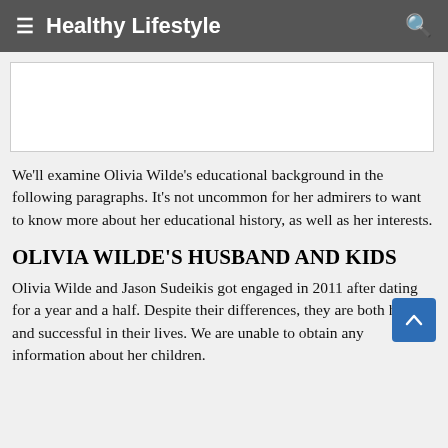≡ Healthy Lifestyle 🔍
[Figure (other): White rectangular image placeholder area]
We'll examine Olivia Wilde's educational background in the following paragraphs. It's not uncommon for her admirers to want to know more about her educational history, as well as her interests.
OLIVIA WILDE'S HUSBAND AND KIDS
Olivia Wilde and Jason Sudeikis got engaged in 2011 after dating for a year and a half. Despite their differences, they are both happy and successful in their lives. We are unable to obtain any information about her children. The complete information about Olivia Wilde's